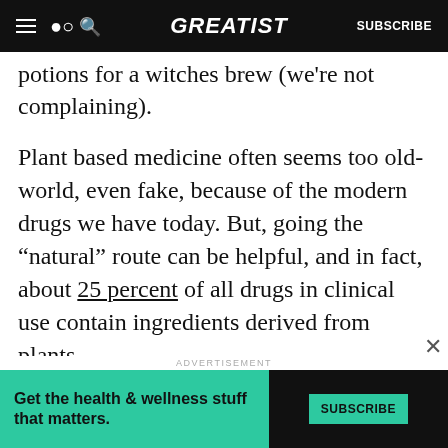GREATIST | SUBSCRIBE
potions for a witches brew (we’re not complaining).
Plant based medicine often seems too old-world, even fake, because of the modern drugs we have today. But, going the “natural” route can be helpful, and in fact, about 25 percent of all drugs in clinical use contain ingredients derived from plants.
While there isn’t a ton of concrete research out there to support the effectiveness of essential oils,
ADVERTISEMENT
[Figure (screenshot): Advertisement banner: teal background on left with text 'Get the health & wellness stuff that matters.' and a SUBSCRIBE button on dark right side.]